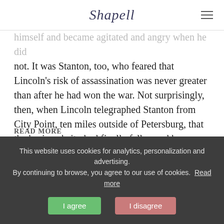Shapell
himself and became agitated and angry when he did not. It was Stanton, too, who feared that Lincoln’s risk of assassination was never greater than after he had won the war. Not surprisingly, then, when Lincoln telegraphed Stanton from City Point, ten miles outside of Petersburg, that the besieged city had finally fallen and he was hurrying into its smoldering streets, there to stroll with Grant (see Lincoln to Stanton, April 3, 1865, 8:00 a.m.) - it was Stanton who was horrified at the risk. “Allow me respectfully to ask you,” he telegraphed back, “to consider whether you ought to expose the nation to the consequence of
READ MORE
This website uses cookies for analytics, personalization and advertising. By continuing to browse, you agree to our use of cookies. Read more
I agree
I disagree